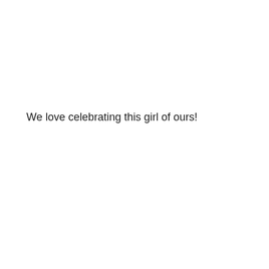We love celebrating this girl of ours!